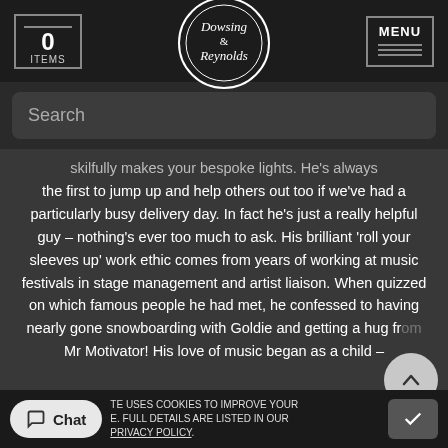0 ITEMS | Dowsing & Reynolds | MENU
Search
skilfully makes your bespoke lights. He's always the first to jump up and help others out too if we've had a particularly busy delivery day. In fact he's just a really helpful guy – nothing's ever too much to ask. His brilliant 'roll your sleeves up' work ethic comes from years of working at music festivals in stage management and artist liaison. When quizzed on which famous people he had met, he confessed to having nearly gone snowboarding with Goldie and getting a hug from Mr Motivator! His love of music began as a child –
Chat
TE USES COOKIES TO IMPROVE YOUR E. FULL DETAILS ARE LISTED IN OUR PRIVACY POLICY.